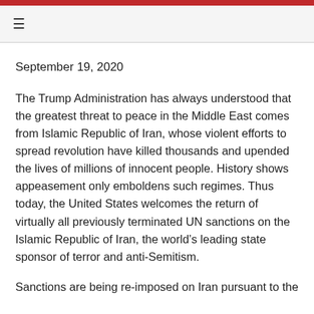≡
September 19, 2020
The Trump Administration has always understood that the greatest threat to peace in the Middle East comes from Islamic Republic of Iran, whose violent efforts to spread revolution have killed thousands and upended the lives of millions of innocent people. History shows appeasement only emboldens such regimes. Thus today, the United States welcomes the return of virtually all previously terminated UN sanctions on the Islamic Republic of Iran, the world's leading state sponsor of terror and anti-Semitism.
Sanctions are being re-imposed on Iran pursuant to the